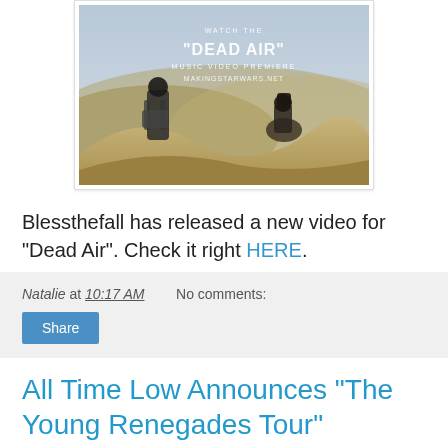[Figure (photo): Two figures from behind looking over desert sand dunes with text overlay reading 'WATCH THE "DEAD AIR" MUSIC VIDEO PREMIERE MAKINGSTARWARS.NET']
Blessthefall has released a new video for "Dead Air". Check it right HERE.
Natalie at 10:17 AM    No comments:
Share
All Time Low Announces "The Young Renegades Tour"
[Figure (photo): Promotional image for Young Renegades Tour with ROCKSTAR branding, showing stylized text 'YOUNG RENEGADES' in orange/yellow against dark background]